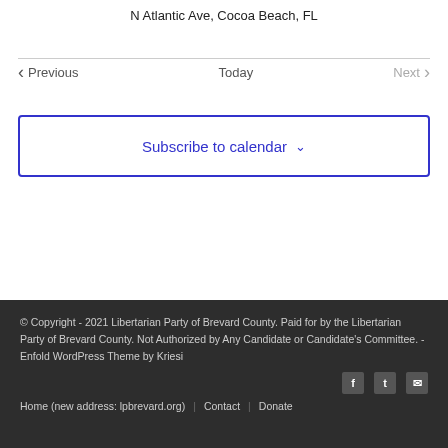N Atlantic Ave, Cocoa Beach, FL
Previous  Today  Next
Subscribe to calendar
© Copyright - 2021 Libertarian Party of Brevard County. Paid for by the Libertarian Party of Brevard County. Not Authorized by Any Candidate or Candidate's Committee. - Enfold WordPress Theme by Kriesi
Home (new address: lpbrevard.org) | Contact | Donate